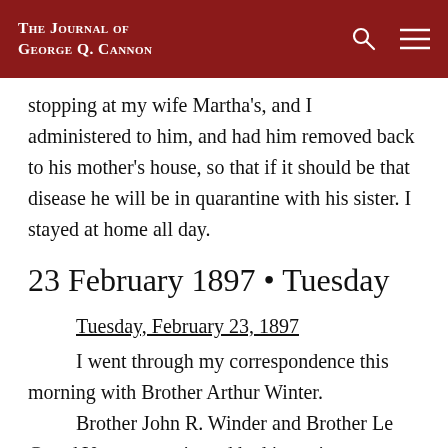The Journal of George Q. Cannon
stopping at my wife Martha's, and I administered to him, and had him removed back to his mother's house, so that if it should be that disease he will be in quarantine with his sister. I stayed at home all day.
23 February 1897 • Tuesday
Tuesday, February 23, 1897
	I went through my correspondence this morning with Brother Arthur Winter.
	Brother John R. Winder and Brother Le Grand Young were in and had interview